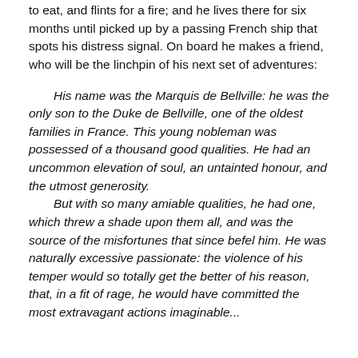to eat, and flints for a fire; and he lives there for six months until picked up by a passing French ship that spots his distress signal. On board he makes a friend, who will be the linchpin of his next set of adventures:
His name was the Marquis de Bellville: he was the only son to the Duke de Bellville, one of the oldest families in France. This young nobleman was possessed of a thousand good qualities. He had an uncommon elevation of soul, an untainted honour, and the utmost generosity. But with so many amiable qualities, he had one, which threw a shade upon them all, and was the source of the misfortunes that since befel him. He was naturally excessive passionate: the violence of his temper would so totally get the better of his reason, that, in a fit of rage, he would have committed the most extravagant actions imaginable...